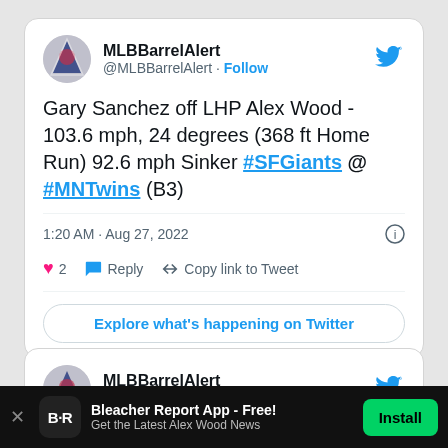[Figure (screenshot): Tweet from @MLBBarrelAlert showing a baseball home run stat about Gary Sanchez off LHP Alex Wood]
MLBBarrelAlert @MLBBarrelAlert · Follow
Gary Sanchez off LHP Alex Wood - 103.6 mph, 24 degrees (368 ft Home Run) 92.6 mph Sinker #SFGiants @ #MNTwins (B3)
1:20 AM · Aug 27, 2022
♥ 2   Reply   Copy link to Tweet
Explore what's happening on Twitter
[Figure (screenshot): Second tweet card from @MLBBarrelAlert, partially visible]
MLBBarrelAlert @MLBBarrelAlert · Follow
Bleacher Report App - Free! Get the Latest Alex Wood News   Install